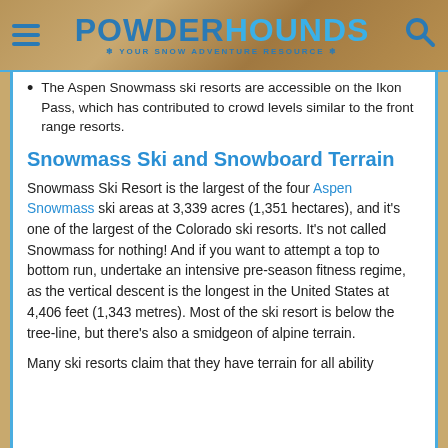POWDERHOUNDS - YOUR SNOW ADVENTURE RESOURCE
The Aspen Snowmass ski resorts are accessible on the Ikon Pass, which has contributed to crowd levels similar to the front range resorts.
Snowmass Ski and Snowboard Terrain
Snowmass Ski Resort is the largest of the four Aspen Snowmass ski areas at 3,339 acres (1,351 hectares), and it's one of the largest of the Colorado ski resorts. It's not called Snowmass for nothing! And if you want to attempt a top to bottom run, undertake an intensive pre-season fitness regime, as the vertical descent is the longest in the United States at 4,406 feet (1,343 metres). Most of the ski resort is below the tree-line, but there's also a smidgeon of alpine terrain.
Many ski resorts claim that they have terrain for all ability